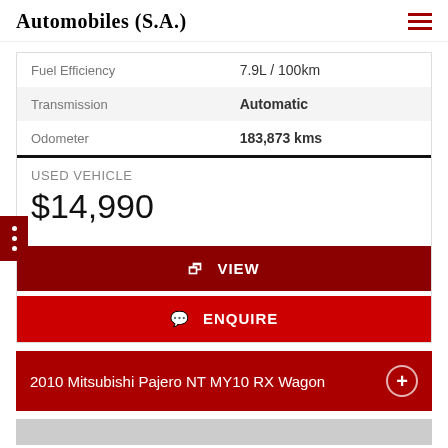Automobiles (S.A.)
| Fuel Efficiency | 7.9L / 100km |
| Transmission | Automatic |
| Odometer | 183,873 kms |
USED VEHICLE
$14,990
VIEW
ENQUIRE
2010 Mitsubishi Pajero NT MY10 RX Wagon